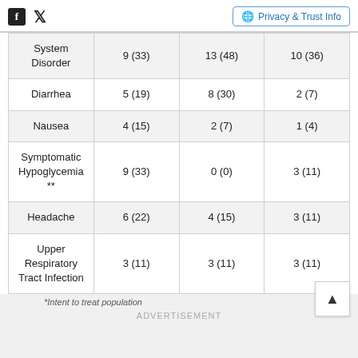Social icons and Privacy & Trust Info
| Adverse Event | Col1 | Col2 | Col3 |
| --- | --- | --- | --- |
| System Disorder | 9 (33) | 13 (48) | 10 (36) |
| Diarrhea | 5 (19) | 8 (30) | 2 (7) |
| Nausea | 4 (15) | 2 (7) | 1 (4) |
| Symptomatic Hypoglycemia ** | 9 (33) | 0 (0) | 3 (11) |
| Headache | 6 (22) | 4 (15) | 3 (11) |
| Upper Respiratory Tract Infection | 3 (11) | 3 (11) | 3 (11) |
*Intent to treat population
ADVERTISEMENT